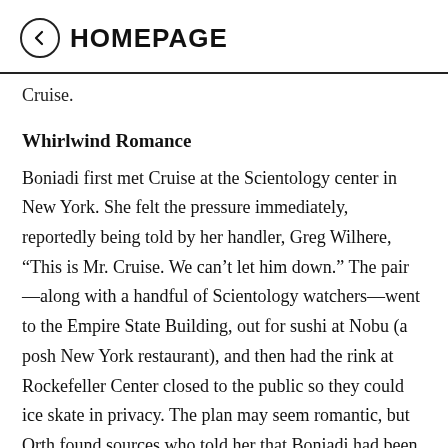← HOMEPAGE
Cruise.
Whirlwind Romance
Boniadi first met Cruise at the Scientology center in New York. She felt the pressure immediately, reportedly being told by her handler, Greg Wilhere, “This is Mr. Cruise. We can’t let him down.” The pair—along with a handful of Scientology watchers—went to the Empire State Building, out for sushi at Nobu (a posh New York restaurant), and then had the rink at Rockefeller Center closed to the public so they could ice skate in privacy. The plan may seem romantic, but Orth found sources who told her that Boniadi had been asked what she’d want to do on a first date. Her answer? Sushi and ice skating. They spent the night together, but did not have sex, Orth writes. Boniadi